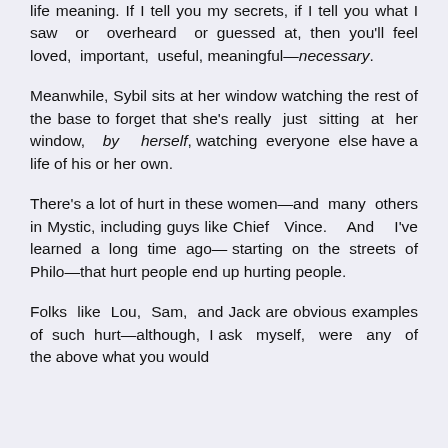life meaning. If I tell you my secrets, if I tell you what I saw or overheard or guessed at, then you'll feel loved, important, useful, meaningful—necessary.
Meanwhile, Sybil sits at her window watching the rest of the base to forget that she's really just sitting at her window, by herself, watching everyone else have a life of his or her own.
There's a lot of hurt in these women—and many others in Mystic, including guys like Chief Vince. And I've learned a long time ago—starting on the streets of Philo—that hurt people end up hurting people.
Folks like Lou, Sam, and Jack are obvious examples of such hurt—although, I ask myself, were any of the above what you would